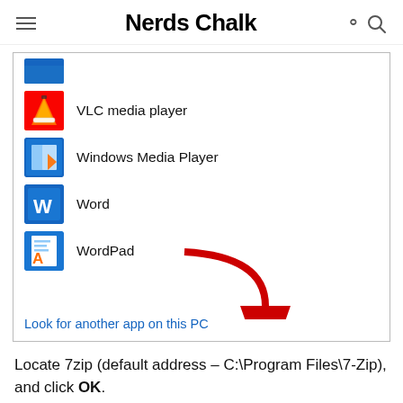Nerds Chalk
[Figure (screenshot): Windows app selection list showing VLC media player, Windows Media Player, Word, WordPad, and 'Look for another app on this PC' link with a red arrow pointing to the link.]
Locate 7zip (default address – C:\Program Files\7-Zip), and click OK.